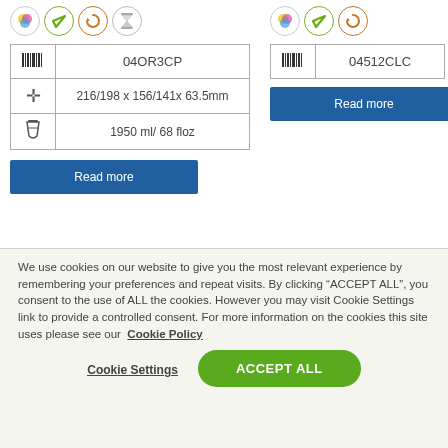[Figure (illustration): Product icons row for left product: color ink (CMYK circle), green leaf/checkmark, orange recycle arrows, hourglass/timer — all in circle borders]
| [barcode icon] | 04OR3CP |
| [crosshair icon] | 216/198 x 156/141x 63.5mm |
| [flask icon] | 1950 ml/ 68 floz |
Read more
[Figure (illustration): Product icons row for right product: color ink (CMYK circle), green leaf/checkmark, orange recycle arrows — in circle borders]
| [barcode icon] | 04512CLC |
Read more
We use cookies on our website to give you the most relevant experience by remembering your preferences and repeat visits. By clicking “ACCEPT ALL”, you consent to the use of ALL the cookies. However you may visit Cookie Settings link to provide a controlled consent. For more information on the cookies this site uses please see our Cookie Policy
Cookie Settings
ACCEPT ALL